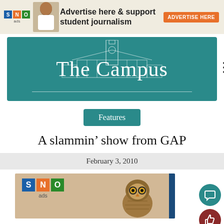[Figure (other): SNO ads banner with woman pointing and text 'Advertise here & support student journalism' with orange ADVERTISE HERE button]
[Figure (logo): The Campus newspaper masthead logo with teal background, building illustration, and white serif text 'The Campus']
Features
A slammin’ show from GAP
February 3, 2010
[Figure (photo): SNO ads logo with an owl photo and blue vertical bar on right side]